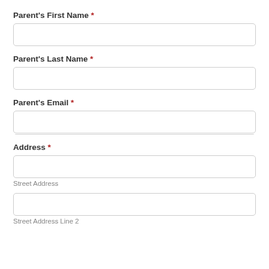Parent's First Name *
Parent's Last Name *
Parent's Email *
Address *
Street Address
Street Address Line 2